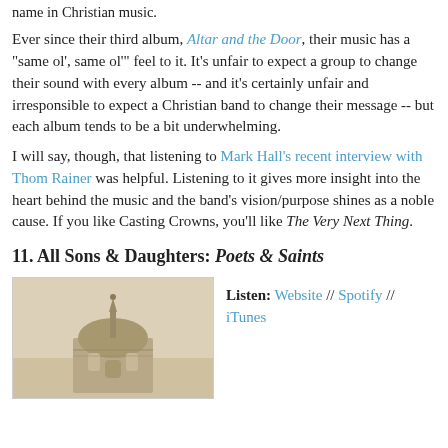name in Christian music.
Ever since their third album, Altar and the Door, their music has a "same ol', same ol'" feel to it. It's unfair to expect a group to change their sound with every album -- and it's certainly unfair and irresponsible to expect a Christian band to change their message -- but each album tends to be a bit underwhelming.
I will say, though, that listening to Mark Hall's recent interview with Thom Rainer was helpful. Listening to it gives more insight into the heart behind the music and the band's vision/purpose shines as a noble cause. If you like Casting Crowns, you'll like The Very Next Thing.
11. All Sons & Daughters: Poets & Saints
[Figure (photo): Album cover photo of Poets & Saints by All Sons & Daughters, showing a domed building/cathedral on a beige/cream background]
Listen: Website // Spotify // iTunes